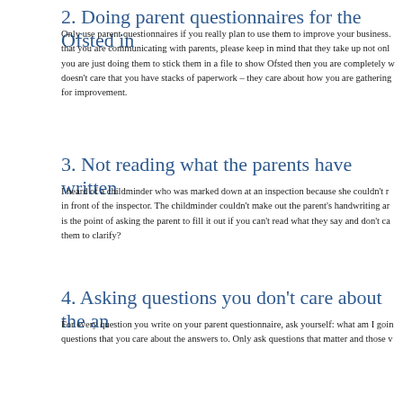2. Doing parent questionnaires for the Ofsted in
Only use parent questionnaires if you really plan to use them to improve your business. that you are communicating with parents, please keep in mind that they take up not onl you are just doing them to stick them in a file to show Ofsted then you are completely w doesn't care that you have stacks of paperwork – they care about how you are gathering for improvement.
3. Not reading what the parents have written
I heard of a childminder who was marked down at an inspection because she couldn't r in front of the inspector. The childminder couldn't make out the parent's handwriting ar is the point of asking the parent to fill it out if you can't read what they say and don't ca them to clarify?
4. Asking questions you don't care about the an
For every question you write on your parent questionnaire, ask yourself: what am I goin questions that you care about the answers to. Only ask questions that matter and those v